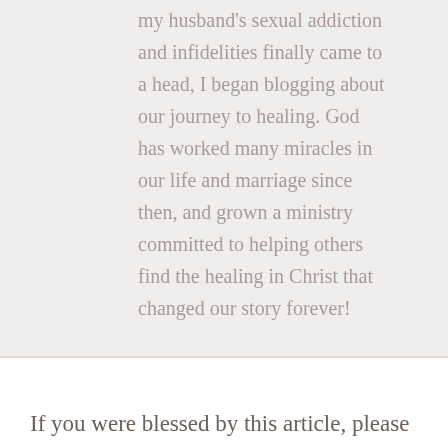my husband's sexual addiction and infidelities finally came to a head, I began blogging about our journey to healing. God has worked many miracles in our life and marriage since then, and grown a ministry committed to helping others find the healing in Christ that changed our story forever!
If you were blessed by this article, please save it to Pinterest, share it on Facebook, or email it to a friend you